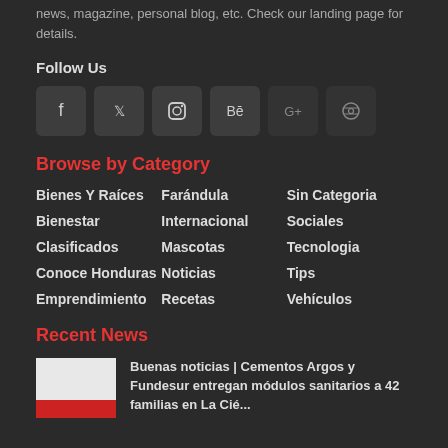news, magazine, personal blog, etc. Check our landing page for details.
Follow Us
[Figure (other): Row of six social media icon buttons: Facebook, Twitter, Instagram, Behance, Google+, Dribbble]
Browse by Category
Bienes Y Raíces
Farándula
Sin Categoria
Bienestar
Internacional
Sociales
Clasificados
Mascotas
Tecnologia
Conoce Honduras
Noticias
Tips
Emprendimiento
Recetas
Vehículos
Recent News
Buenas noticias | Cementos Argos y Fundesur entregan módulos sanitarios a 42 familias en La Cié... (truncated)